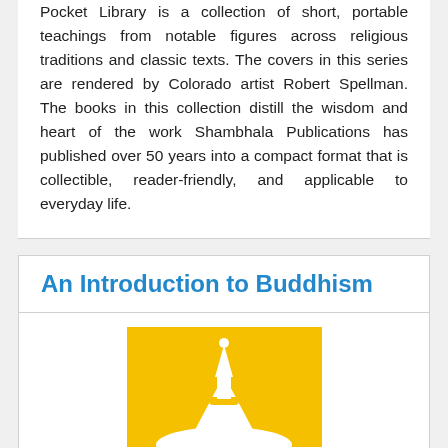Pocket Library is a collection of short, portable teachings from notable figures across religious traditions and classic texts. The covers in this series are rendered by Colorado artist Robert Spellman. The books in this collection distill the wisdom and heart of the work Shambhala Publications has published over 50 years into a compact format that is collectible, reader-friendly, and applicable to everyday life.
An Introduction to Buddhism
[Figure (photo): Book cover of 'An Introduction to Buddhism' with a yellow/gold top half showing a white stupa silhouette, and white bottom half with black text reading 'AN INTRODUCTION TO BUDDHISM']